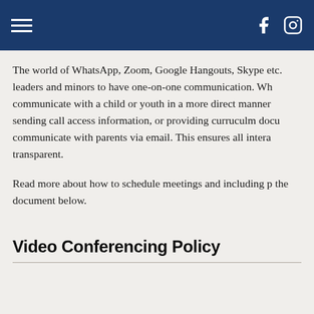[Navigation header with hamburger menu, Facebook icon, Instagram icon]
The world of WhatsApp, Zoom, Google Hangouts, Skype etc. leaders and minors to have one-on-one communication. Wh communicate with a child or youth in a more direct manner sending call access information, or providing curruculm docu communicate with parents via email. This ensures all intera transparent.
Read more about how to schedule meetings and including p the document below.
Video Conferencing Policy